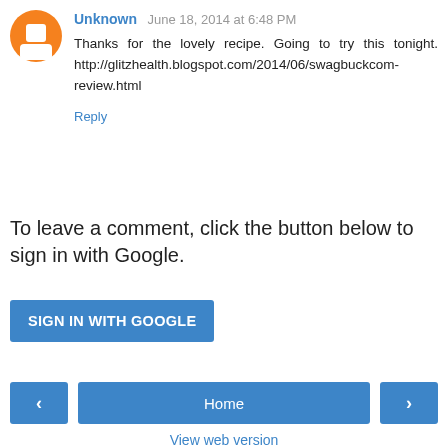Unknown June 18, 2014 at 6:48 PM
Thanks for the lovely recipe. Going to try this tonight. http://glitzhealth.blogspot.com/2014/06/swagbuckcom-review.html
Reply
To leave a comment, click the button below to sign in with Google.
SIGN IN WITH GOOGLE
[Figure (other): Navigation bar with left arrow, Home button, and right arrow]
View web version
About Me
Unknown
View my complete profile